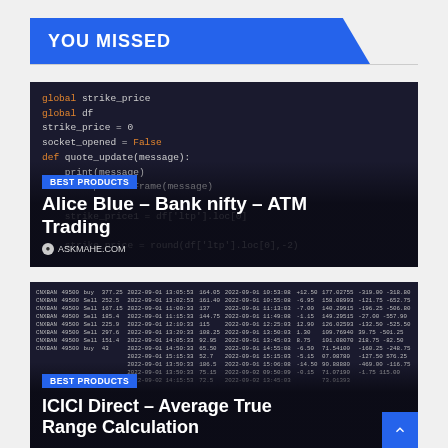YOU MISSED
[Figure (screenshot): Code snippet showing Python global variables and function definition for quote_update with DataFrame operations on dark background]
BEST PRODUCTS
Alice Blue – Bank nifty – ATM Trading
ASKMAHE.COM
[Figure (screenshot): Spreadsheet/table data showing trading records with columns for date, action, price and other trading metrics on dark background]
BEST PRODUCTS
ICICI Direct – Average True Range Calculation